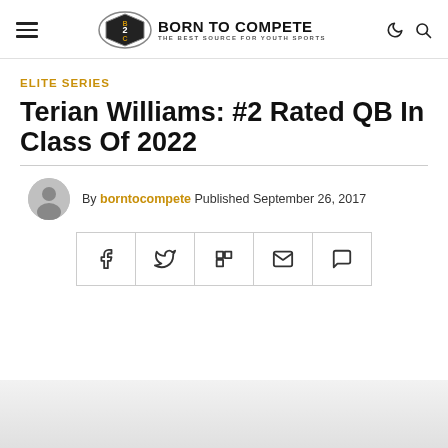BORN TO COMPETE — THE BEST SOURCE FOR YOUTH SPORTS
ELITE SERIES
Terian Williams: #2 Rated QB In Class Of 2022
By borntocompete Published September 26, 2017